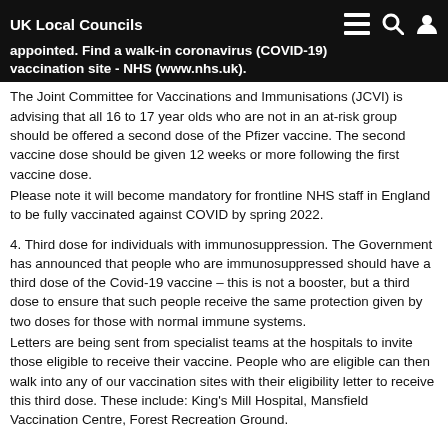UK Local Councils
appointed. Find a walk-in coronavirus (COVID-19) vaccination site - NHS (www.nhs.uk).
The Joint Committee for Vaccinations and Immunisations (JCVI) is advising that all 16 to 17 year olds who are not in an at-risk group should be offered a second dose of the Pfizer vaccine. The second vaccine dose should be given 12 weeks or more following the first vaccine dose.
Please note it will become mandatory for frontline NHS staff in England to be fully vaccinated against COVID by spring 2022.
4. Third dose for individuals with immunosuppression. The Government has announced that people who are immunosuppressed should have a third dose of the Covid-19 vaccine – this is not a booster, but a third dose to ensure that such people receive the same protection given by two doses for those with normal immune systems.
Letters are being sent from specialist teams at the hospitals to invite those eligible to receive their vaccine. People who are eligible can then walk into any of our vaccination sites with their eligibility letter to receive this third dose. These include: King's Mill Hospital, Mansfield Vaccination Centre, Forest Recreation Ground.